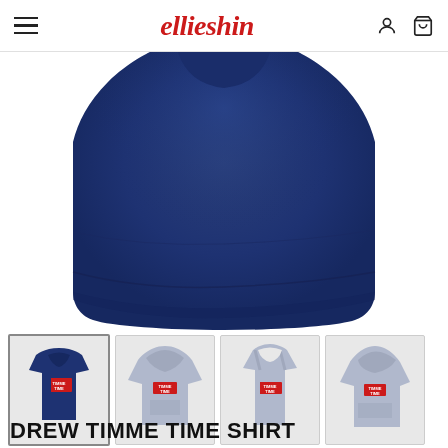ellie shin
[Figure (photo): Close-up product photo of a navy blue t-shirt/hoodie, showing the chest and body area of the garment against a white background.]
[Figure (photo): Thumbnail row showing four product variants: navy t-shirt with Drew Timme Time graphic, light gray hoodie, light gray tank top, and light gray hoodie (side view). A right-arrow navigation indicator is visible.]
DREW TIMME TIME SHIRT